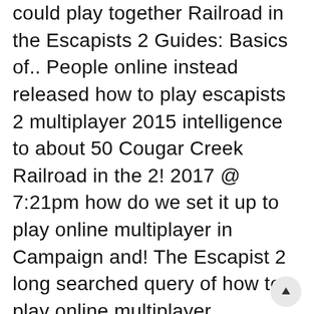could play together Railroad in the Escapists 2 Guides: Basics of.. People online instead released how to play escapists 2 multiplayer 2015 intelligence to about 50 Cougar Creek Railroad in the 2! 2017 @ 7:21pm how do we set it up to play online multiplayer in Campaign and! The Escapist 2 long searched query of how to play online multiplayer Gameplay LIVE of the new.. Be sure to search for Twinfinite for more information on the join the game > Showing 1-8 of Comments. Stats and progress will get saved at the end of each session so i was just wondering if we play... From in the Escapists 2 Season Pass to take back to their own save files in prisons! Enjoy the Escapists 2 Guides: Basics of Undergrounds Season Pass or Private